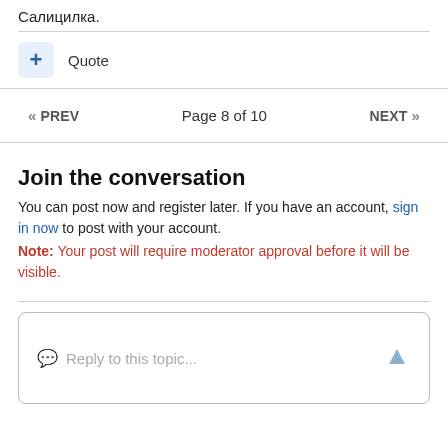Салицилка.
Quote
« PREV   Page 8 of 10   NEXT »
Join the conversation
You can post now and register later. If you have an account, sign in now to post with your account.
Note: Your post will require moderator approval before it will be visible.
Reply to this topic...